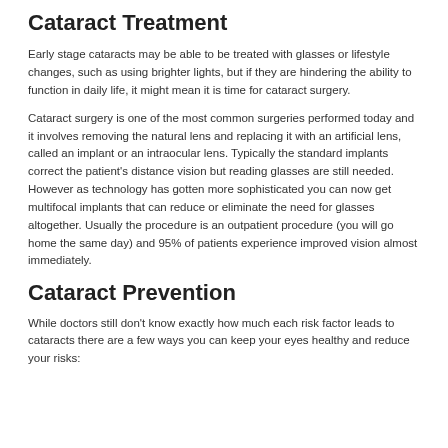Cataract Treatment
Early stage cataracts may be able to be treated with glasses or lifestyle changes, such as using brighter lights, but if they are hindering the ability to function in daily life, it might mean it is time for cataract surgery.
Cataract surgery is one of the most common surgeries performed today and it involves removing the natural lens and replacing it with an artificial lens, called an implant or an intraocular lens. Typically the standard implants correct the patient's distance vision but reading glasses are still needed. However as technology has gotten more sophisticated you can now get multifocal implants that can reduce or eliminate the need for glasses altogether. Usually the procedure is an outpatient procedure (you will go home the same day) and 95% of patients experience improved vision almost immediately.
Cataract Prevention
While doctors still don't know exactly how much each risk factor leads to cataracts there are a few ways you can keep your eyes healthy and reduce your risks: